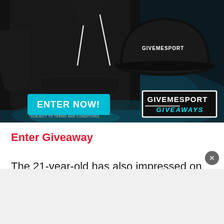[Figure (illustration): GiveMeSport Giveaways promotional banner showing black hoodie and black bucket hat with 'GIVEMESPORT' branding, cyan 'ENTER NOW!' button on the left, and 'GIVEMESPORT GIVEAWAYS' logo in a black bordered box on the right. Small text reads '*SUBJECT TO TERMS AND CONDITIONS'.]
Enter Giveaway
The 21-year-old has also impressed on the international stage, registering six assists in 12 outings for the Netherlands under-21s.